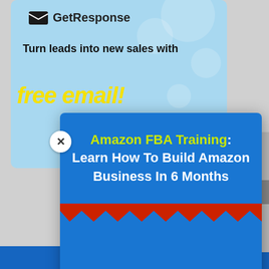[Figure (screenshot): GetResponse background banner with logo, tagline 'Turn leads into new sales with' and 'free email!' in yellow italic text on light blue background]
Amazon FBA Training: Learn How To Build Amazon Business In 6 Months
Enter Your Email
Get Access